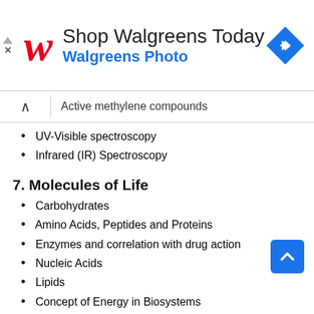[Figure (other): Walgreens advertisement banner with Walgreens logo, 'Shop Walgreens Today' text, 'Walgreens Photo' subtitle in blue, and a blue diamond navigation icon]
Active methylene compounds
UV-Visible spectroscopy
Infrared (IR) Spectroscopy
7. Molecules of Life
Carbohydrates
Amino Acids, Peptides and Proteins
Enzymes and correlation with drug action
Nucleic Acids
Lipids
Concept of Energy in Biosystems
8. Green Chemistry: Designing Chemistry for Human Health and Environment